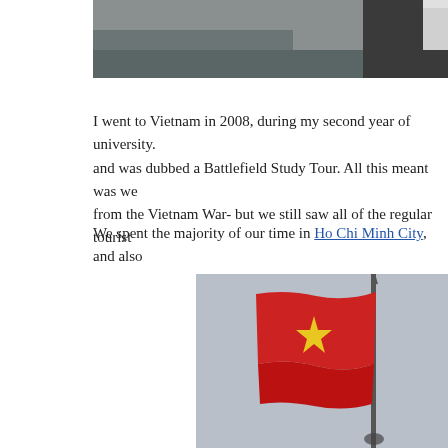[Figure (photo): Partial photo at the top of the page showing a person in dark clothing against a rocky/outdoor background, cropped at the bottom.]
I went to Vietnam in 2008, during my second year of university. and was dubbed a Battlefield Study Tour. All this meant was we from the Vietnam War- but we still saw all of the regular tourist
We spent the majority of our time in Ho Chi Minh City, and also
[Figure (photo): Photo of the Vietnamese flag (red background with yellow star) flying on a flagpole against a grey sky.]